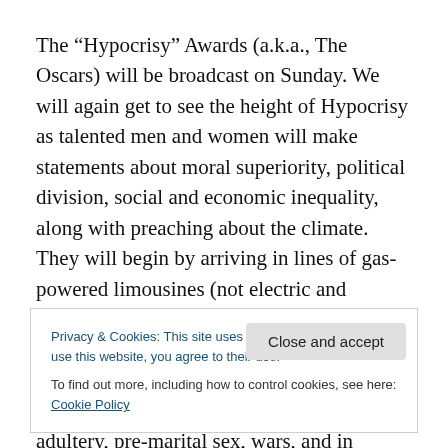The “Hypocrisy” Awards (a.k.a., The Oscars) will be broadcast on Sunday. We will again get to see the height of Hypocrisy as talented men and women will make statements about moral superiority, political division, social and economic inequality, along with preaching about the climate. They will begin by arriving in lines of gas-powered limousines (not electric and certainly not by carpooling). They will be recognized for a performance while not mentioning their history of work that includes movies that glorify gun violence, adultery, pre-marital sex, wars, and in
Privacy & Cookies: This site uses cookies. By continuing to use this website, you agree to their use.
To find out more, including how to control cookies, see here: Cookie Policy
Close and accept
Hollywood since its inception, but for many it was easier to